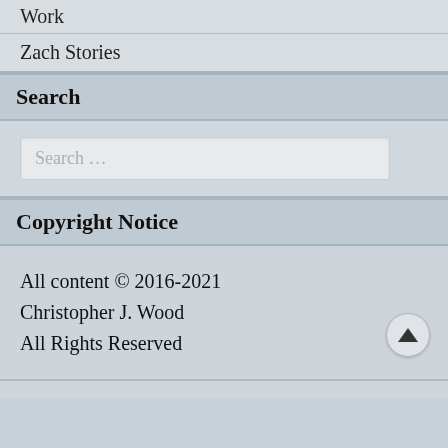Work
Zach Stories
Search
Search …
Copyright Notice
All content © 2016-2021 Christopher J. Wood All Rights Reserved